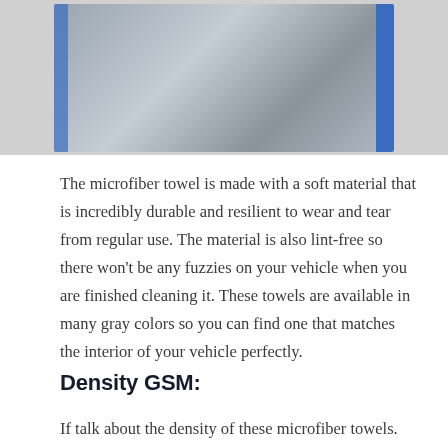[Figure (photo): Photo of a gray microfiber towel with blue stripe edging being held by hands, shown from two angles side by side against a dark background.]
The microfiber towel is made with a soft material that is incredibly durable and resilient to wear and tear from regular use. The material is also lint-free so there won't be any fuzzies on your vehicle when you are finished cleaning it. These towels are available in many gray colors so you can find one that matches the interior of your vehicle perfectly.
Density GSM:
If talk about the density of these microfiber towels.